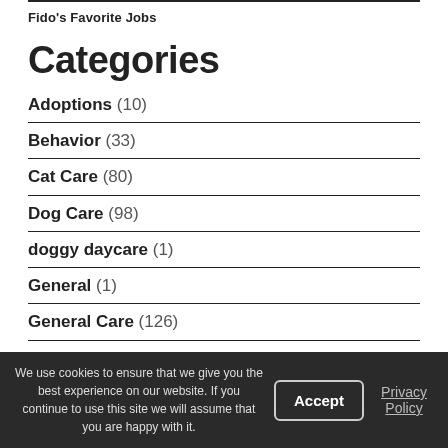Fido's Favorite Jobs
Categories
Adoptions (10)
Behavior (33)
Cat Care (80)
Dog Care (98)
doggy daycare (1)
General (1)
General Care (126)
General Health (62)
Illness & Disease (4)
Pocket Pet Care (12)
We use cookies to ensure that we give you the best experience on our website. If you continue to use this site we will assume that you are happy with it.
Accept
Privacy Policy